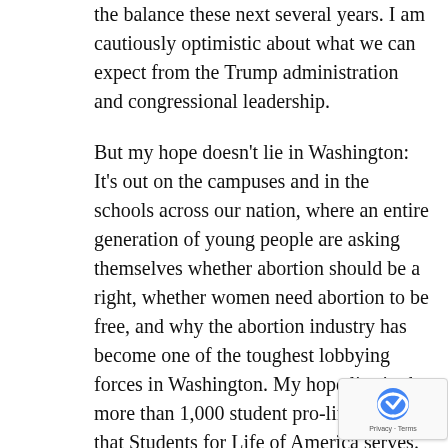the balance these next several years. I am cautiously optimistic about what we can expect from the Trump administration and congressional leadership.
But my hope doesn't lie in Washington: It's out on the campuses and in the schools across our nation, where an entire generation of young people are asking themselves whether abortion should be a right, whether women need abortion to be free, and why the abortion industry has become one of the toughest lobbying forces in Washington. My hope lies in the more than 1,000 student pro-life groups that Students for Life of America serves. The passion of young pro-life unrivaled in the pro-abortion movement, something even their leaders have noticed.